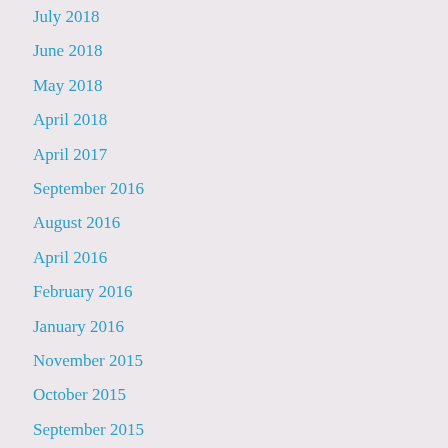July 2018
June 2018
May 2018
April 2018
April 2017
September 2016
August 2016
April 2016
February 2016
January 2016
November 2015
October 2015
September 2015
August 2015